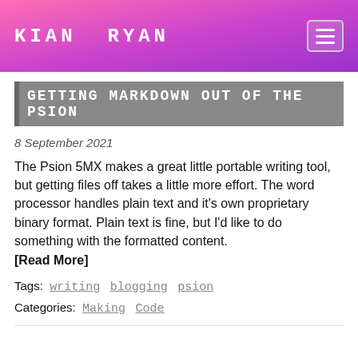KIAN RYAN
GETTING MARKDOWN OUT OF THE PSION
8 September 2021
The Psion 5MX makes a great little portable writing tool, but getting files off takes a little more effort. The word processor handles plain text and it's own proprietary binary format. Plain text is fine, but I'd like to do something with the formatted content.
[Read More]
Tags: writing blogging psion
Categories: Making Code